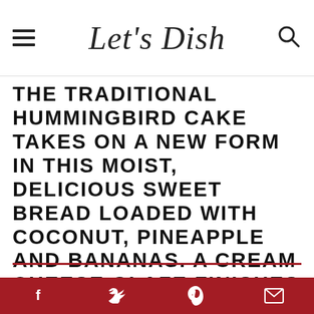Let's Dish
THE TRADITIONAL HUMMINGBIRD CAKE TAKES ON A NEW FORM IN THIS MOIST, DELICIOUS SWEET BREAD LOADED WITH COCONUT, PINEAPPLE AND BANANAS. A CREAM CHEESE GLAZE FINISHES IT ALL OFF IN STYLE.
[Figure (photo): Photo of Hummingbird Quick Bread with script text overlay on grey background]
Social sharing bar with facebook, twitter, pinterest, email icons